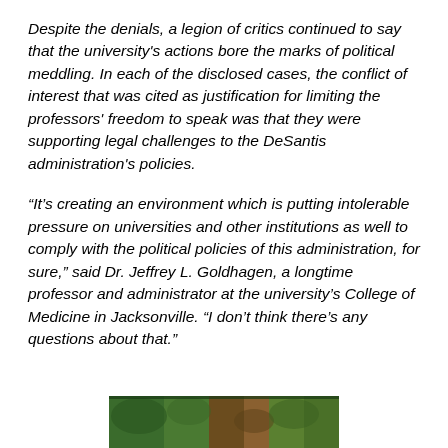Despite the denials, a legion of critics continued to say that the university's actions bore the marks of political meddling. In each of the disclosed cases, the conflict of interest that was cited as justification for limiting the professors' freedom to speak was that they were supporting legal challenges to the DeSantis administration's policies.
“It’s creating an environment which is putting intolerable pressure on universities and other institutions as well to comply with the political policies of this administration, for sure,” said Dr. Jeffrey L. Goldhagen, a longtime professor and administrator at the university’s College of Medicine in Jacksonville. “I don’t think there’s any questions about that.”
[Figure (photo): Partial bottom strip of a photograph showing green foliage and figures, cropped at bottom of page.]